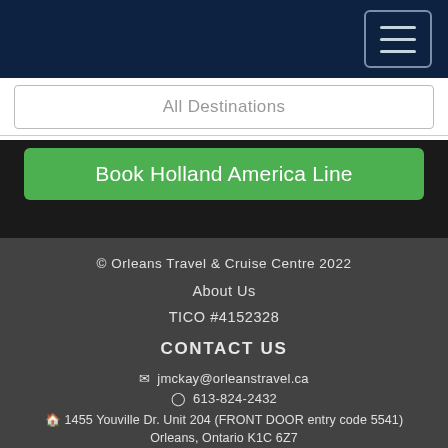Navigation bar with hamburger menu button
All Destinations
Book Holland America Line
© Orleans Travel & Cruise Centre 2022
About Us
TICO #4152328
CONTACT US
jmckay@orleanstravel.ca
613-824-2432
1455 Youville Dr. Unit 204 (FRONT DOOR entry code 5541)
Orleans, Ontario K1C 6Z7